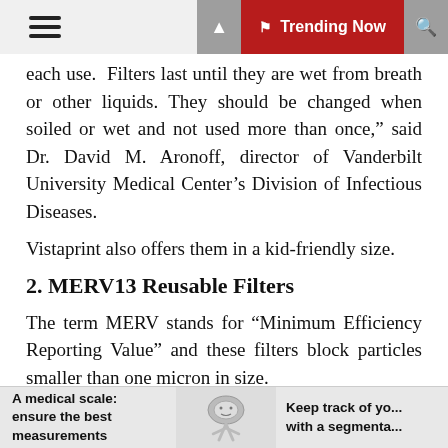Trending Now
each use.  Filters last until they are wet from breath or other liquids. They should be changed when soiled or wet and not used more than once,” said Dr. David M. Aronoff, director of Vanderbilt University Medical Center’s Division of Infectious Diseases.
Vistaprint also offers them in a kid-friendly size.
2. MERV13 Reusable Filters
The term MERV stands for “Minimum Efficiency Reporting Value” and these filters block particles smaller than one micron in size.
“This type of filter is probably most useful for people who will be having sustained or frequent close contacts with other people, particularly people who are not themselves wearing any type of mask,” Aronoff said
A medical scale: ensure the best measurements | Keep track of yo... with a segmenta...